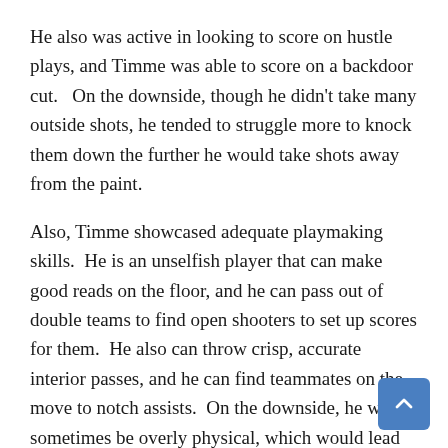He also was active in looking to score on hustle plays, and Timme was able to score on a backdoor cut.  On the downside, though he didn't take many outside shots, he tended to struggle more to knock them down the further he would take shots away from the paint.
Also, Timme showcased adequate playmaking skills.  He is an unselfish player that can make good reads on the floor, and he can pass out of double teams to find open shooters to set up scores for them.  He also can throw crisp, accurate interior passes, and he can find teammates on the move to notch assists.  On the downside, he would sometimes be overly physical, which would lead him to commit